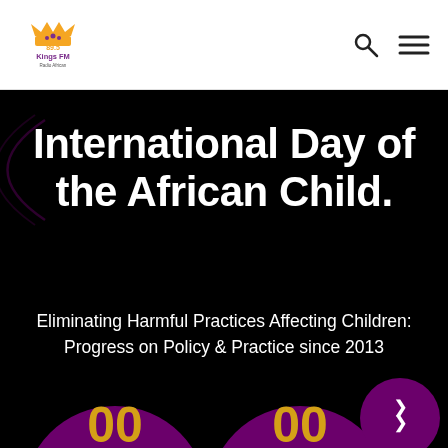[Figure (logo): 89.5 Kings FM radio station logo with crown icon]
International Day of the African Child.
Eliminating Harmful Practices Affecting Children: Progress on Policy & Practice since 2013
[Figure (infographic): Two large purple circles showing countdown numbers '00' and '00' in gold/amber color, with a small purple circle containing white chevron up arrow in bottom right]